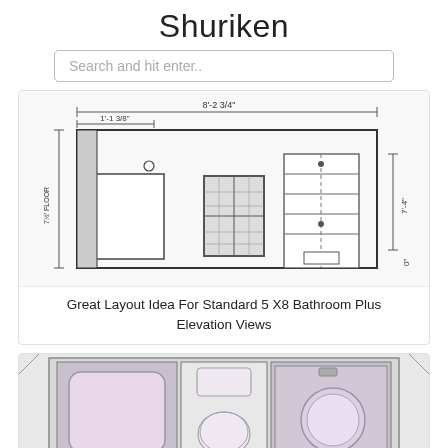Shuriken
Search and hit enter..
[Figure (engineering-diagram): Bathroom elevation view architectural drawing showing dimensions: 8'-2 3/4" total width, 1'-1 3/8" partial width, 7'-4" height, 0" base. Shows a door, window with grid panes, shelving unit, and floor label at 7½'. Dimension lines and dashed reference lines included.]
Great Layout Idea For Standard 5 X8 Bathroom Plus Elevation Views
[Figure (engineering-diagram): Bathroom floor plan showing bathtub (left, pink/lavender), toilet labeled TOILET-1 (center), and circular sink/basin (right, lavender). Layout shown from top view with dimension lines at corners.]